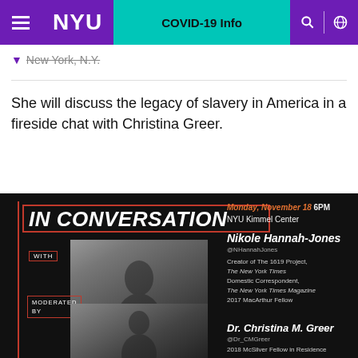NYU | COVID-19 Info
New York, N.Y.
She will discuss the legacy of slavery in America in a fireside chat with Christina Greer.
[Figure (infographic): Black event poster for 'IN CONVERSATION' featuring Nikole Hannah-Jones and Dr. Christina M. Greer. Monday, November 18 6PM, NYU Kimmel Center. With a black-and-white photo of Nikole Hannah-Jones (Creator of The 1619 Project, The New York Times; Domestic Correspondent, The New York Times Magazine; 2017 MacArthur Fellow). Moderated by Dr. Christina M. Greer (@Dr_CMGreer), 2018 McSilver Fellow in Residence.]